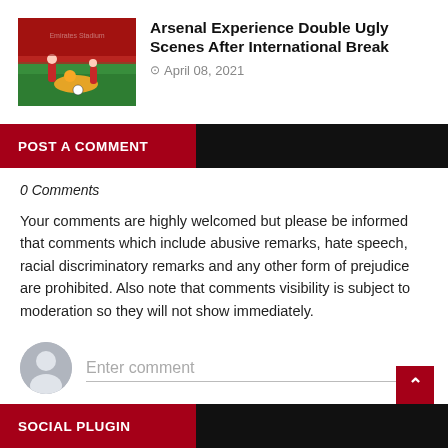[Figure (photo): Arsenal football match action photo showing players on the pitch, one in yellow goalkeeper kit on the ground]
Arsenal Experience Double Ugly Scenes After International Break
April 08, 2021
POST A COMMENT
0 Comments
Your comments are highly welcomed but please be informed that comments which include abusive remarks, hate speech, racial discriminatory remarks and any other form of prejudice are prohibited. Also note that comments visibility is subject to moderation so they will not show immediately.
[Figure (illustration): Generic user avatar icon — grey silhouette of a person]
Enter comment
SOCIAL PLUGIN